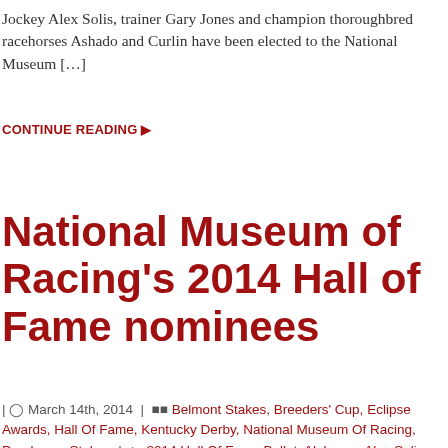Jockey Alex Solis, trainer Gary Jones and champion thoroughbred racehorses Ashado and Curlin have been elected to the National Museum […]
CONTINUE READING ▶
National Museum of Racing's 2014 Hall of Fame nominees
| ⏱ March 14th, 2014 | ▪ Belmont Stakes, Breeders' Cup, Eclipse Awards, Hall Of Fame, Kentucky Derby, National Museum Of Racing, Preakness Stakes | 🏷 2014 Hall Of Fame Ballot, Alabama, Alex Solis